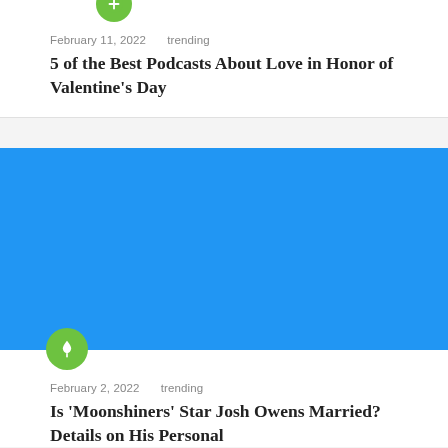[Figure (illustration): Green circle icon with plus/arrow symbol at top of first article card]
February 11, 2022   trending
5 of the Best Podcasts About Love in Honor of Valentine's Day
[Figure (photo): Blue placeholder image for second article card]
[Figure (illustration): Green circle icon with pin/thumbtack symbol overlapping bottom of blue image]
February 2, 2022   trending
Is 'Moonshiners' Star Josh Owens Married? Details on His Personal